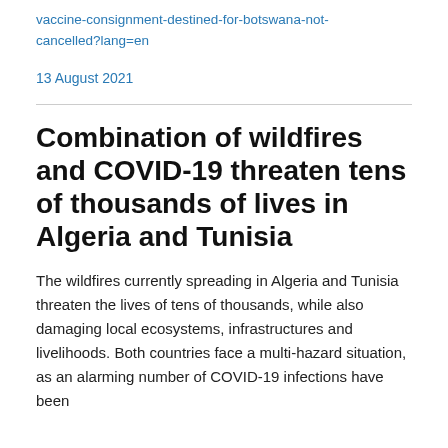vaccine-consignment-destined-for-botswana-not-cancelled?lang=en
13 August 2021
Combination of wildfires and COVID-19 threaten tens of thousands of lives in Algeria and Tunisia
The wildfires currently spreading in Algeria and Tunisia threaten the lives of tens of thousands, while also damaging local ecosystems, infrastructures and livelihoods. Both countries face a multi-hazard situation, as an alarming number of COVID-19 infections have been